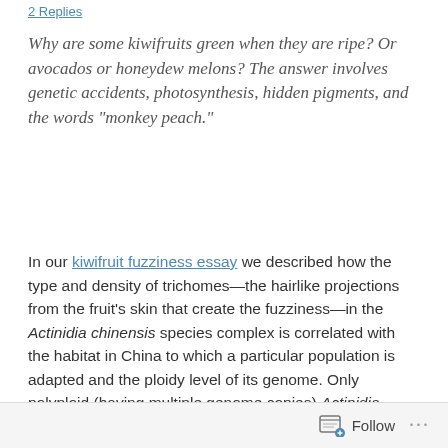2 Replies
Why are some kiwifruits green when they are ripe? Or avocados or honeydew melons? The answer involves genetic accidents, photosynthesis, hidden pigments, and the words “monkey peach.”
In our kiwifruit fuzziness essay we described how the type and density of trichomes—the hairlike projections from the fruit’s skin that create the fuzziness—in the Actinidia chinensis species complex is correlated with the habitat in China to which a particular population is adapted and the ploidy level of its genome. Only polyploid (having multiple genome copies) Actinidia chinensis occupy the harshest environments—the high, arid reaches of western China—and have the highest trichome density and the longest trichomes. And those fuzzy, resilient, polyploid kiwifruits are all green on the inside.(1) Th…
Follow …